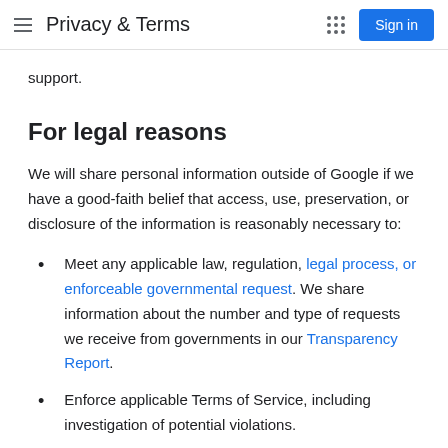Privacy & Terms | Sign in
support.
For legal reasons
We will share personal information outside of Google if we have a good-faith belief that access, use, preservation, or disclosure of the information is reasonably necessary to:
Meet any applicable law, regulation, legal process, or enforceable governmental request. We share information about the number and type of requests we receive from governments in our Transparency Report.
Enforce applicable Terms of Service, including investigation of potential violations.